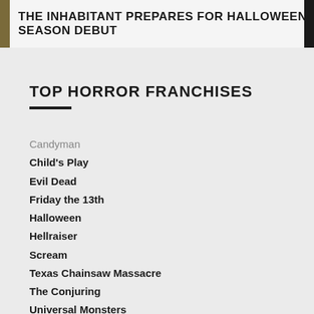THE INHABITANT PREPARES FOR HALLOWEEN SEASON DEBUT
TOP HORROR FRANCHISES
Candyman
Child's Play
Evil Dead
Friday the 13th
Halloween
Hellraiser
Scream
Texas Chainsaw Massacre
The Conjuring
Universal Monsters
A Nightmare on Elm Street